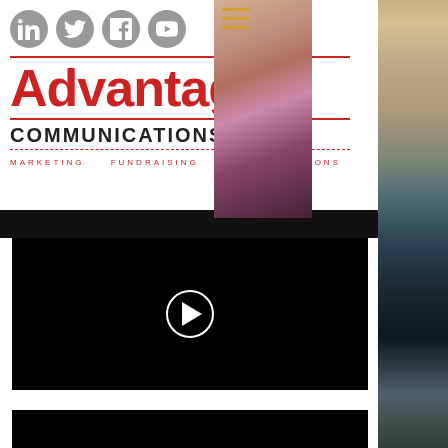[Figure (logo): Advantage Communications Inc. logo with social media icons (LinkedIn, Twitter, Facebook, YouTube) above the red bold 'Advantage' wordmark and 'COMMUNICATIONS INC.' subtitle with decorative lines]
[Figure (photo): Photo of a smiling woman in a pink/magenta top, partially visible on the right side of the logo section, with a hamburger menu icon overlay]
[Figure (screenshot): Black video player panel with white circular play button in the center]
[Figure (photo): Partially visible black panel at the bottom of the page (second video or image section)]
[Figure (photo): Blurred bokeh background photo strip on the right edge of the page showing colorful out-of-focus shapes]